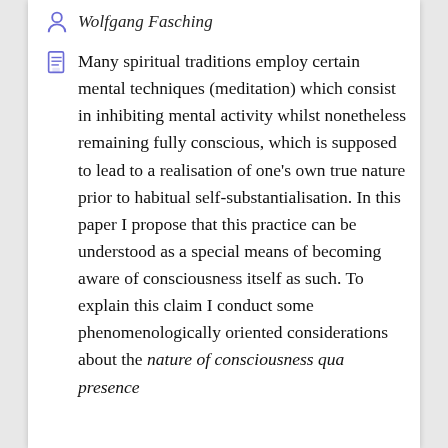Wolfgang Fasching
Many spiritual traditions employ certain mental techniques (meditation) which consist in inhibiting mental activity whilst nonetheless remaining fully conscious, which is supposed to lead to a realisation of one's own true nature prior to habitual self-substantialisation. In this paper I propose that this practice can be understood as a special means of becoming aware of consciousness itself as such. To explain this claim I conduct some phenomenologically oriented considerations about the nature of consciousness qua presence